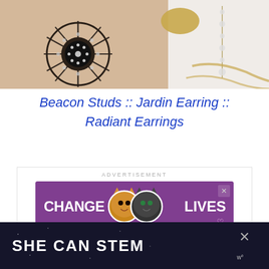[Figure (photo): Close-up photograph of elaborate jewelry pieces including a sunburst/radiant rhinestone brooch/earring held in a hand, a gold oval piece, and crystal drop earrings on a white background]
Beacon Studs :: Jardin Earring :: Radiant Earrings
[Figure (screenshot): Advertisement banner with purple background showing two cats and text 'CHANGE LIVES' with a heart icon and close X button]
[Figure (screenshot): Dark navy banner advertisement showing text 'SHE CAN STEM' with a close X button and Wunderkind logo]